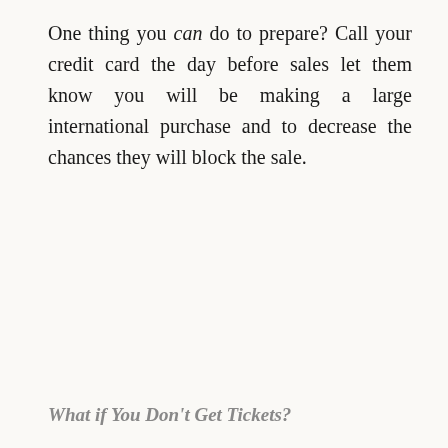One thing you can do to prepare? Call your credit card the day before sales let them know you will be making a large international purchase and to decrease the chances they will block the sale.
What if You Don't Get Tickets?